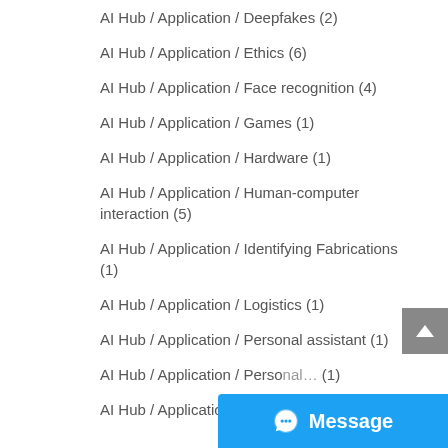AI Hub / Application / Deepfakes (2)
AI Hub / Application / Ethics (6)
AI Hub / Application / Face recognition (4)
AI Hub / Application / Games (1)
AI Hub / Application / Hardware (1)
AI Hub / Application / Human-computer interaction (5)
AI Hub / Application / Identifying Fabrications (1)
AI Hub / Application / Logistics (1)
AI Hub / Application / Personal assistant (1)
AI Hub / Application / Personal… (1)
AI Hub / Application / Predic…